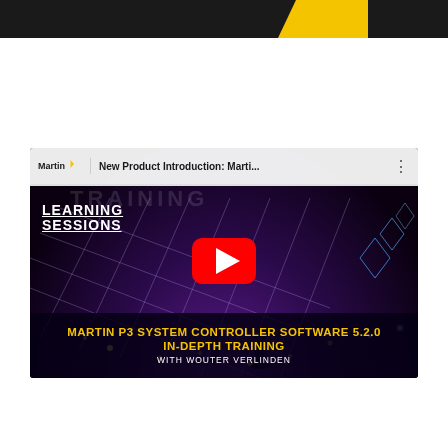Martin Training Learning Sessions — header bar
[Figure (screenshot): YouTube video thumbnail for 'New Product Introduction: Martin P3 System Controller Software 5.2.0 In-Depth Training with Wouter Verlinden'. Shows a dark stage with purple/violet lighting, diamond grid pattern, performers on stage, Martin Learning Sessions branding, and a red YouTube play button in the center. Bottom caption reads 'MARTIN P3 SYSTEM CONTROLLER SOFTWARE 5.2.0 IN-DEPTH TRAINING WITH WOUTER VERLINDEN'.]